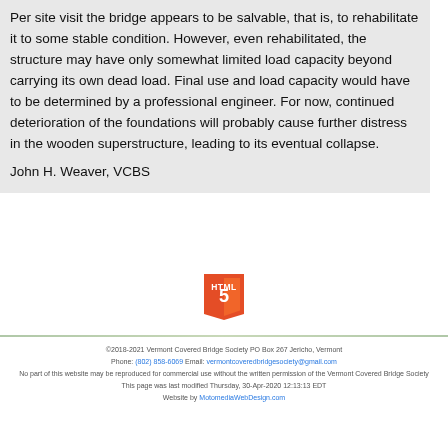Per site visit the bridge appears to be salvable, that is, to rehabilitate it to some stable condition. However, even rehabilitated, the structure may have only somewhat limited load capacity beyond carrying its own dead load. Final use and load capacity would have to be determined by a professional engineer. For now, continued deterioration of the foundations will probably cause further distress in the wooden superstructure, leading to its eventual collapse.
John H. Weaver, VCBS
[Figure (logo): HTML5 shield logo]
©2018-2021 Vermont Covered Bridge Society PO Box 267 Jericho, Vermont
Phone: (802) 858-6069 Email: vermontcoveredbridgesociety@gmail.com
No part of this website may be reproduced for commercial use without the written permission of the Vermont Covered Bridge Society
This page was last modified Thursday, 30-Apr-2020 12:13:13 EDT
Website by MotomediaWebDesign.com